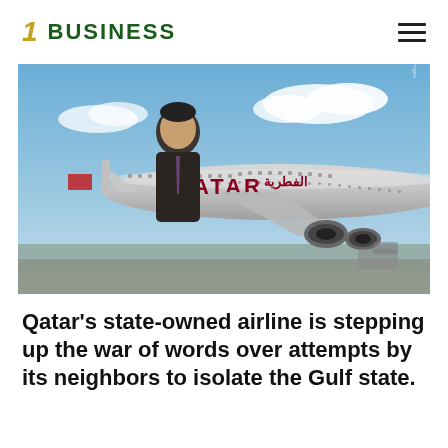1 BUSINESS
[Figure (photo): A man in a suit stands behind a Qatar Airways airplane model at an outdoor aviation event. The aircraft model prominently shows the Qatar Airways branding in both English and Arabic script.]
Qatar's state-owned airline is stepping up the war of words over attempts by its neighbors to isolate the Gulf state.